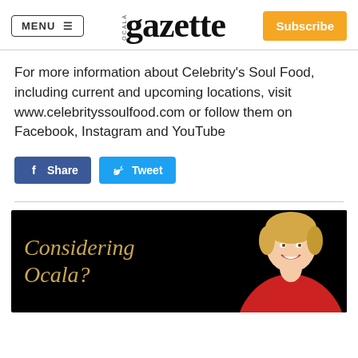MENU ≡  OCALA gazette  Subscribe
For more information about Celebrity's Soul Food, including current and upcoming locations, visit www.celebrityssoulfood.com or follow them on Facebook, Instagram and YouTube
[Figure (screenshot): Facebook Share button (blue) and Twitter Tweet button (blue) for social sharing]
[Figure (photo): Advertisement banner with black background showing golden script text 'Considering Ocala?' with a smiling blonde woman in a red shirt on the right side]